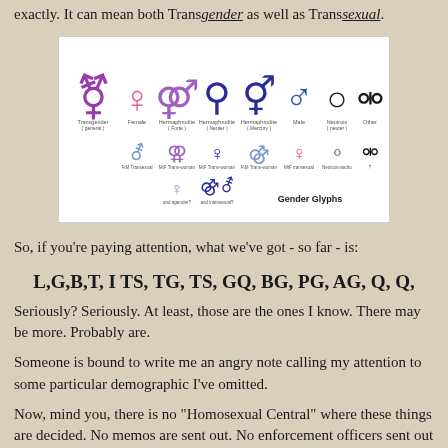exactly. It can mean both Transgender as well as Transsexual.
[Figure (illustration): Gender Glyphs chart showing various gender symbols including Transgender (general), Female, Hermaphrodite (Forte), Hermaphrodite (Neuter), Hermaphrodite (Mercury), Male, Neutrois (Neuter), Other, and additional secondary symbols below.]
So, if you're paying attention, what we've got - so far - is:
L,G,B,T, I TS, TG, TS, GQ, BG, PG, AG, Q, Q,
Seriously? Seriously. At least, those are the ones I know. There may be more. Probably are.
Someone is bound to write me an angry note calling my attention to some particular demographic I've omitted.
Now, mind you, there is no "Homosexual Central" where these things are decided. No memos are sent out. No enforcement officers sent out to make sure everyone minds...